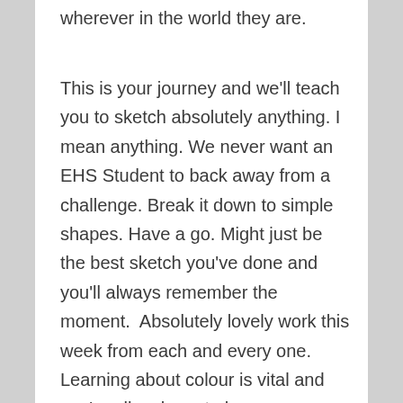wherever in the world they are.
This is your journey and we'll teach you to sketch absolutely anything. I mean anything. We never want an EHS Student to back away from a challenge. Break it down to simple shapes. Have a go. Might just be the best sketch you've done and you'll always remember the moment. Absolutely lovely work this week from each and every one. Learning about colour is vital and you're all so keen to know more. This week we learned to think about the hundreds of colours which go into